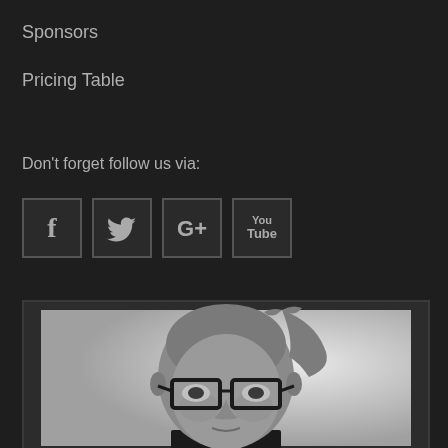Sponsors
Pricing Table
Don't forget follow us via:
[Figure (infographic): Four social media icon buttons in a row: Facebook (f), Twitter (bird), Google+ (G+), YouTube (You/Tube)]
[Figure (photo): Black and white portrait photo of a young bald man wearing thick-rimmed glasses, with one hand raised behind his head, looking slightly downward toward camera]